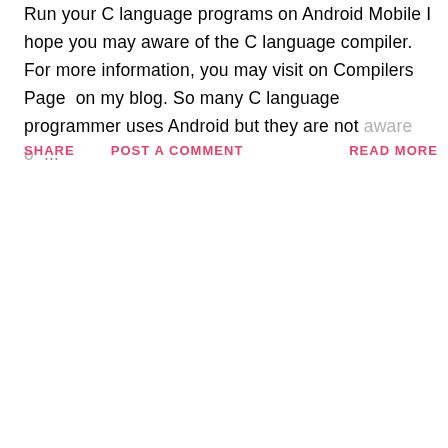Run your C language programs on Android Mobile I hope you may aware of the C language compiler. For more information, you may visit on Compilers Page  on my blog. So many C language programmer uses Android but they are not aware o ...
SHARE    POST A COMMENT    READ MORE